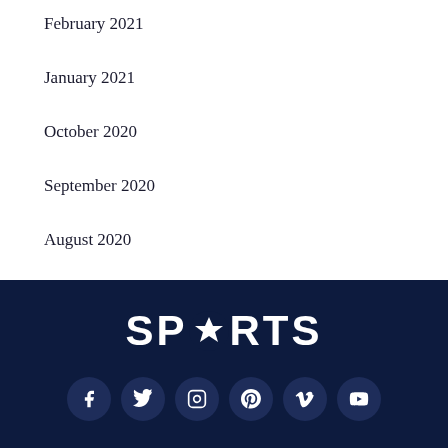February 2021
January 2021
October 2020
September 2020
August 2020
July 2020
SPORTS [logo with star] social icons: Facebook, Twitter, Instagram, Pinterest, Vimeo, YouTube